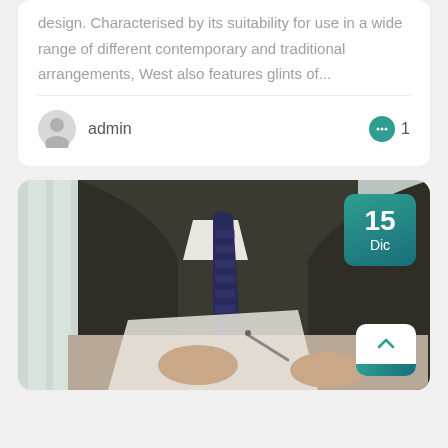design. Characterised by its suitability for use in a wide range of different contemporary and traditional arrangements, West also features glints of...
admin
[Figure (photo): Person in a dark suit and tie, writing or signing a document with a pen, viewed from the chest down. A date badge showing '15 Dic' and a scroll-to-top button are overlaid on the image.]